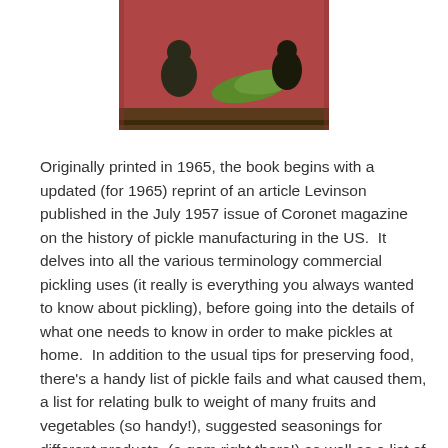[Figure (photo): Partial view of a book cover or illustration showing figures and green vegetables against a reddish-brown background]
Originally printed in 1965, the book begins with a updated (for 1965) reprint of an article Levinson published in the July 1957 issue of Coronet magazine on the history of pickle manufacturing in the US.  It delves into all the various terminology commercial pickling uses (it really is everything you always wanted to know about pickling), before going into the details of what one needs to know in order to make pickles at home.  In addition to the usual tips for preserving food, there's a handy list of pickle fails and what caused them, a list for relating bulk to weight of many fruits and vegetables (so handy!), suggested seasonings for different products  (a gem right there!) as well as a list of the 100 best American towns and cities for pickle making because of the quality of their municipal water (yes, Charlottesville is on there!)  There are tips on how to best